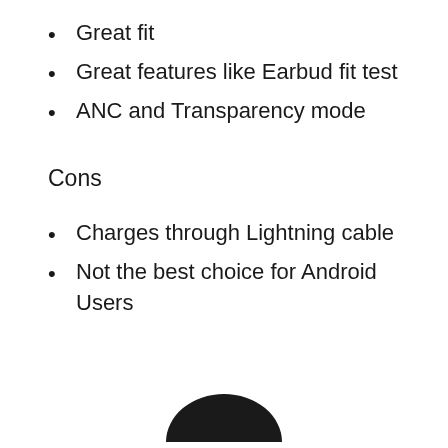Great fit
Great features like Earbud fit test
ANC and Transparency mode
Cons
Charges through Lightning cable
Not the best choice for Android Users
[Figure (photo): Partial dark circular object visible at the bottom center of the page]